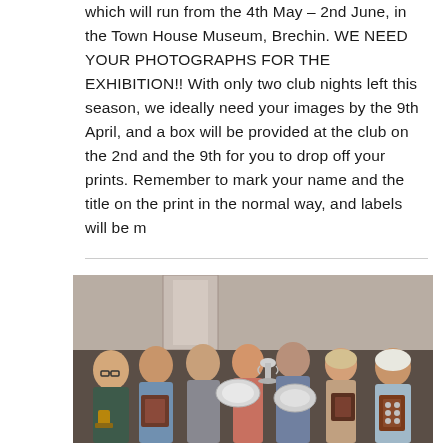which will run from the 4th May – 2nd June, in the Town House Museum, Brechin. WE NEED YOUR PHOTOGRAPHS FOR THE EXHIBITION!! With only two club nights left this season, we ideally need your images by the 9th April, and a box will be provided at the club on the 2nd and the 9th for you to drop off your prints. Remember to mark your name and the title on the print in the normal way, and labels will be m
[Figure (photo): Group photo of seven people standing together holding trophies, shields, and plaques. They appear to be at an awards ceremony, likely for a photography club.]